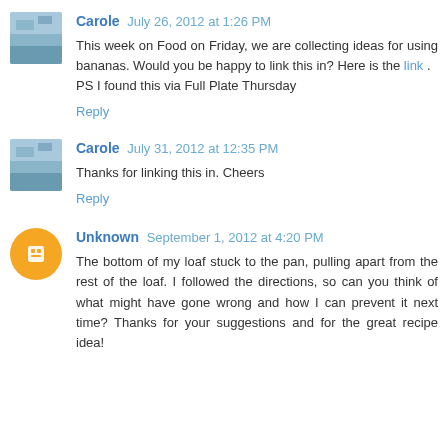Carole July 26, 2012 at 1:26 PM
This week on Food on Friday, we are collecting ideas for using bananas. Would you be happy to link this in? Here is the link . PS I found this via Full Plate Thursday
Reply
Carole July 31, 2012 at 12:35 PM
Thanks for linking this in. Cheers
Reply
Unknown September 1, 2012 at 4:20 PM
The bottom of my loaf stuck to the pan, pulling apart from the rest of the loaf. I followed the directions, so can you think of what might have gone wrong and how I can prevent it next time? Thanks for your suggestions and for the great recipe idea!